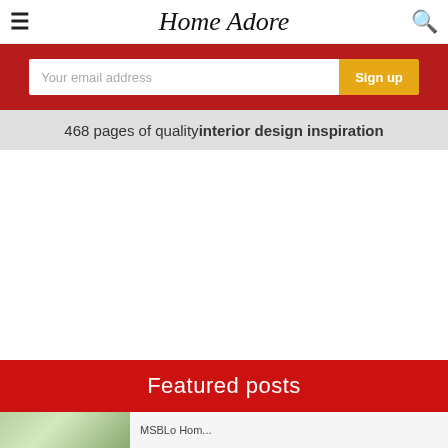Home Adore
Your email address
Sign up
468 pages of quality interior design inspiration
Featured posts
[Figure (photo): Interior room photo showing wooden louver windows/doors]